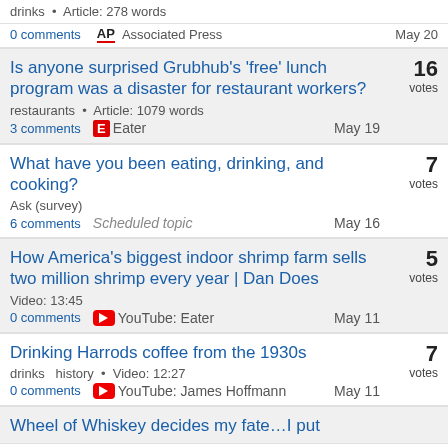drinks • Article: 278 words
0 comments   AP Associated Press   May 20
Is anyone surprised Grubhub's 'free' lunch program was a disaster for restaurant workers?
16 votes
restaurants • Article: 1079 words
3 comments   Eater   May 19
What have you been eating, drinking, and cooking?
7 votes
Ask (survey)
6 comments   Scheduled topic   May 16
How America's biggest indoor shrimp farm sells two million shrimp every year | Dan Does
5 votes
Video: 13:45
0 comments   YouTube: Eater   May 11
Drinking Harrods coffee from the 1930s
7 votes
drinks   history • Video: 12:27
0 comments   YouTube: James Hoffmann   May 11
Wheel of Whiskey decides my fate…I put